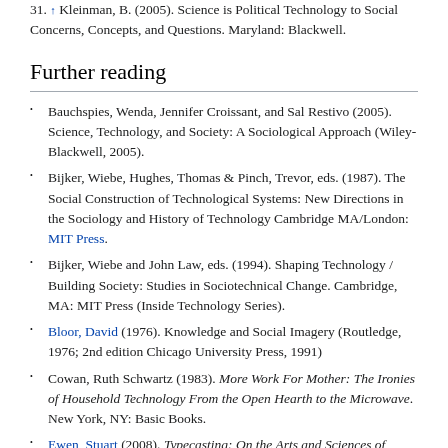31. ↑ Kleinman, B. (2005). Science is Political Technology to Social Concerns, Concepts, and Questions. Maryland: Blackwell.
Further reading
Bauchspies, Wenda, Jennifer Croissant, and Sal Restivo (2005). Science, Technology, and Society: A Sociological Approach (Wiley-Blackwell, 2005).
Bijker, Wiebe, Hughes, Thomas & Pinch, Trevor, eds. (1987). The Social Construction of Technological Systems: New Directions in the Sociology and History of Technology Cambridge MA/London: MIT Press.
Bijker, Wiebe and John Law, eds. (1994). Shaping Technology / Building Society: Studies in Sociotechnical Change. Cambridge, MA: MIT Press (Inside Technology Series).
Bloor, David (1976). Knowledge and Social Imagery (Routledge, 1976; 2nd edition Chicago University Press, 1991)
Cowan, Ruth Schwartz (1983). More Work For Mother: The Ironies of Household Technology From the Open Hearth to the Microwave. New York, NY: Basic Books.
Ewen, Stuart (2008). Typecasting: On the Arts and Sciences of